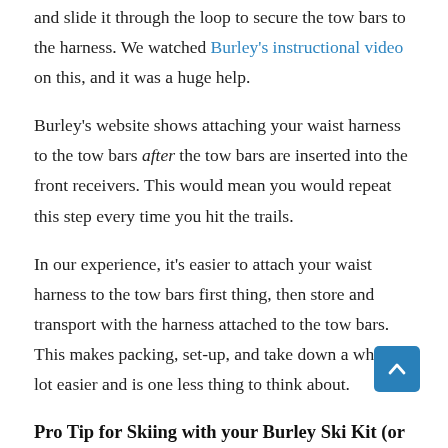and slide it through the loop to secure the tow bars to the harness. We watched Burley's instructional video on this, and it was a huge help.
Burley's website shows attaching your waist harness to the tow bars after the tow bars are inserted into the front receivers. This would mean you would repeat this step every time you hit the trails.
In our experience, it's easier to attach your waist harness to the tow bars first thing, then store and transport with the harness attached to the tow bars. This makes packing, set-up, and take down a whole lot easier and is one less thing to think about.
Pro Tip for Skiing with your Burley Ski Kit (or ANY